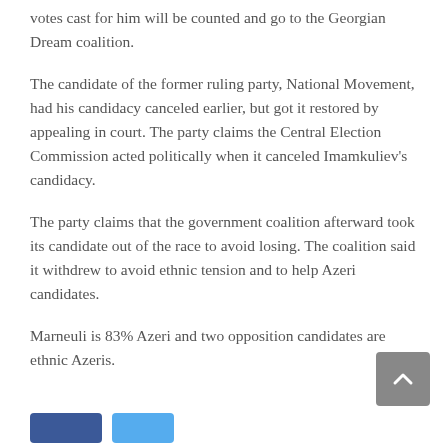votes cast for him will be counted and go to the Georgian Dream coalition.
The candidate of the former ruling party, National Movement, had his candidacy canceled earlier, but got it restored by appealing in court. The party claims the Central Election Commission acted politically when it canceled Imamkuliev's candidacy.
The party claims that the government coalition afterward took its candidate out of the race to avoid losing. The coalition said it withdrew to avoid ethnic tension and to help Azeri candidates.
Marneuli is 83% Azeri and two opposition candidates are ethnic Azeris.